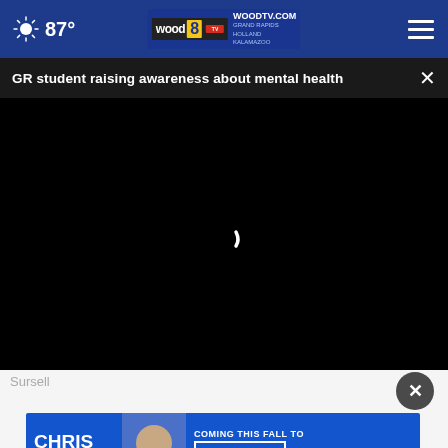87° WOODTV.COM GRAND RAPIDS HOLLAND KALAMAZOO
GR student raising awareness about mental health
[Figure (screenshot): Black video player area with loading spinner arc in white]
Sursell
[Figure (photo): Chris Cuomo advertisement banner: CHRIS CUOMO COMING THIS FALL TO [NEWSNATION] FIND YOUR CHANNEL]